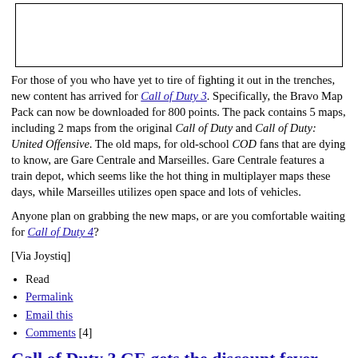[Figure (other): Empty white box with black border, likely a placeholder for an image]
For those of you who have yet to tire of fighting it out in the trenches, new content has arrived for Call of Duty 3. Specifically, the Bravo Map Pack can now be downloaded for 800 points. The pack contains 5 maps, including 2 maps from the original Call of Duty and Call of Duty: United Offensive. The old maps, for old-school COD fans that are dying to know, are Gare Centrale and Marseilles. Gare Centrale features a train depot, which seems like the hot thing in multiplayer maps these days, while Marseilles utilizes open space and lots of vehicles.
Anyone plan on grabbing the new maps, or are you comfortable waiting for Call of Duty 4?
[Via Joystiq]
Read
Permalink
Email this
Comments [4]
Call of Duty 3 GE gets the discount fever